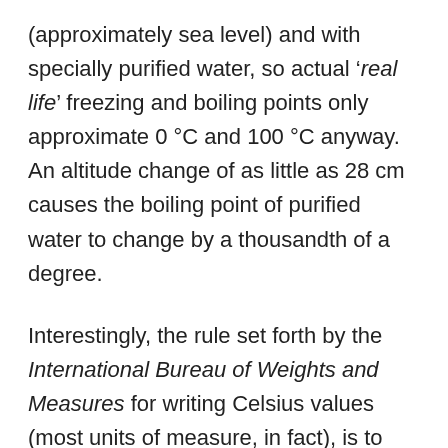(approximately sea level) and with specially purified water, so actual ‘real life’ freezing and boiling points only approximate 0 °C and 100 °C anyway. An altitude change of as little as 28 cm causes the boiling point of purified water to change by a thousandth of a degree.
Interestingly, the rule set forth by the International Bureau of Weights and Measures for writing Celsius values (most units of measure, in fact), is to write the numerical value, followed by a space, followed by the °C sign. So the correct way to write a temperature is 37 °C, not 37°C or 37° C.
Currently the Celsius scale is the temperature scale